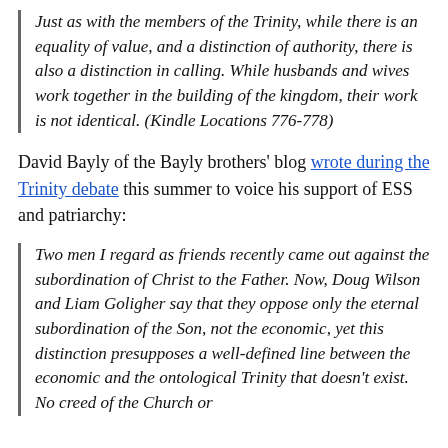Just as with the members of the Trinity, while there is an equality of value, and a distinction of authority, there is also a distinction in calling. While husbands and wives work together in the building of the kingdom, their work is not identical. (Kindle Locations 776-778)
David Bayly of the Bayly brothers' blog wrote during the Trinity debate this summer to voice his support of ESS and patriarchy:
Two men I regard as friends recently came out against the subordination of Christ to the Father. Now, Doug Wilson and Liam Goligher say that they oppose only the eternal subordination of the Son, not the economic, yet this distinction presupposes a well-defined line between the economic and the ontological Trinity that doesn't exist. No creed of the Church or